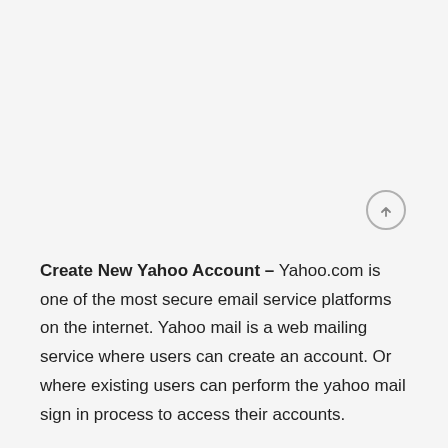Create New Yahoo Account – Yahoo.com is one of the most secure email service platforms on the internet. Yahoo mail is a web mailing service where users can create an account. Or where existing users can perform the yahoo mail sign in process to access their accounts.